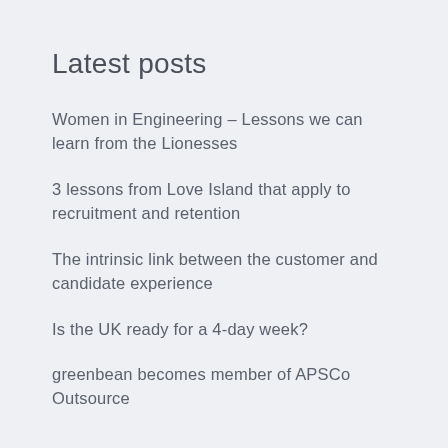Latest posts
Women in Engineering – Lessons we can learn from the Lionesses
3 lessons from Love Island that apply to recruitment and retention
The intrinsic link between the customer and candidate experience
Is the UK ready for a 4-day week?
greenbean becomes member of APSCo Outsource